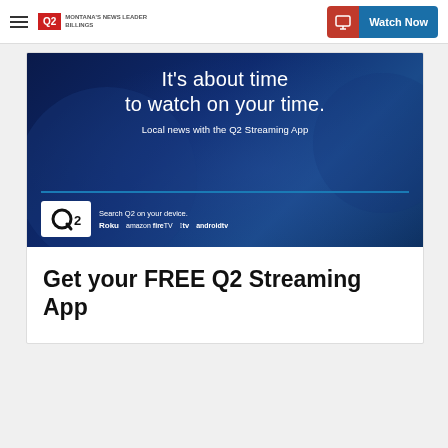Q2 Montana's News Leader Billings | Watch Now
[Figure (illustration): Q2 Streaming App advertisement banner on dark blue background with phone imagery. Text reads: It's about time to watch on your time. Local news with the Q2 Streaming App. Q2 logo. Search Q2 on your device. Roku, amazon fire TV, Apple TV, android tv.]
Get your FREE Q2 Streaming App